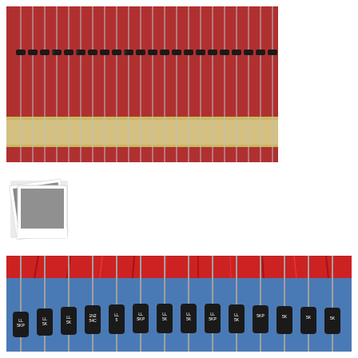[Figure (photo): Close-up photo of small electronic diodes taped on a red carrier tape with gold leads, arranged in a row on a red textured surface with a beige tape strip at the bottom.]
[Figure (photo): Small placeholder/icon image showing a grey rectangle with a white border, styled like a polaroid photo.]
[Figure (photo): Close-up photo of larger cylindrical black electronic components (diodes/rectifiers) with labels reading 5KP or similar, mounted on a red carrier tape against a blue background, with metal leads extending vertically.]